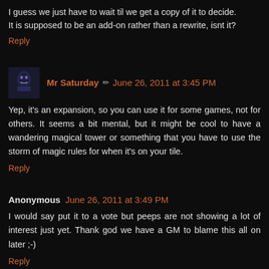I guess we just have to wait til we get a copy of it to decide. It is supposed to be an add-on rather than a rewrite, isnt it?
Reply
Mr Saturday ✏ June 26, 2011 at 3:45 PM
Yep, it's an expansion, so you can use it for some games, not for others. It seems a bit mental, but it might be cool to have a wandering magical tower or something that you have to use the storm of magic rules for when it's on your tile.
Reply
Anonymous June 26, 2011 at 3:49 PM
I would say put it to a vote but peeps are not showing a lot of interest just yet. Thank god we have a GM to blame this all on later ;-)
Reply